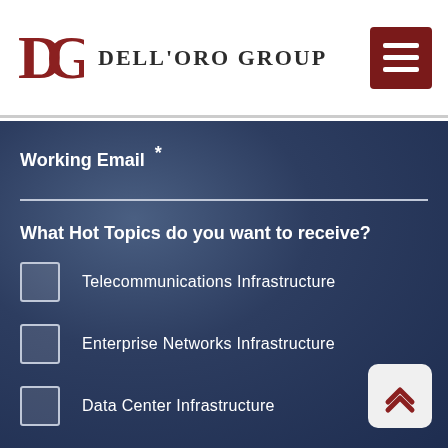Dell'Oro Group
Working Email  *
What Hot Topics do you want to receive?
Telecommunications Infrastructure
Enterprise Networks Infrastructure
Data Center Infrastructure